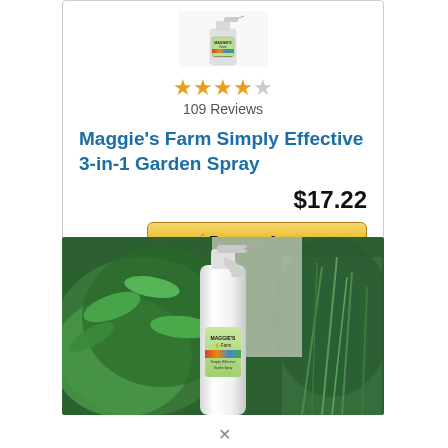[Figure (photo): Product image of Maggie's Farm Simply Effective 3-in-1 Garden Spray bottle at top of card]
★★★★☆ 109 Reviews
Maggie's Farm Simply Effective 3-in-1 Garden Spray
$17.22
🛒 Buy on Amazon
[Figure (photo): Photo of Maggie's Farm spray bottle surrounded by green herb plants (basil and rosemary)]